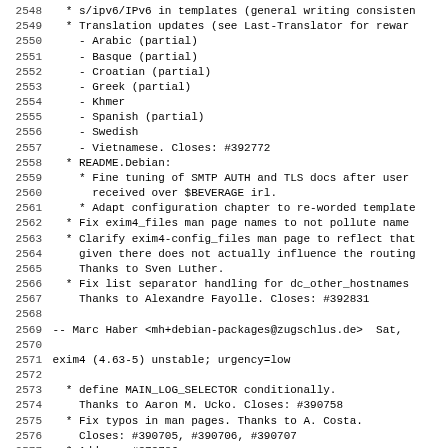2548     * s/ipv6/IPv6 in templates (general writing consisten
2549     * Translation updates (see Last-Translator for rewar
2550       - Arabic (partial)
2551       - Basque (partial)
2552       - Croatian (partial)
2553       - Greek (partial)
2554       - Khmer
2555       - Spanish (partial)
2556       - Swedish
2557       - Vietnamese. Closes: #392772
2558     * README.Debian:
2559       * Fine tuning of SMTP AUTH and TLS docs after user
2560         received over $BEVERAGE irl.
2561       * Adapt configuration chapter to re-worded template
2562     * Fix exim4_files man page names to not pollute name
2563     * Clarify exim4-config_files man page to reflect that
2564       given there does not actually influence the routing
2565       Thanks to Sven Luther.
2566     * Fix list separator handling for dc_other_hostnames
2567       Thanks to Alexandre Fayolle. Closes: #392831
2568
2569  -- Marc Haber <mh+debian-packages@zugschlus.de>  Sat,
2570
2571 exim4 (4.63-5) unstable; urgency=low
2572
2573     * define MAIN_LOG_SELECTOR conditionally.
2574       Thanks to Aaron M. Ucko. Closes: #390758
2575     * Fix typos in man pages. Thanks to A. Costa.
2576       Closes: #390705, #390706, #390707
2577     * Address #373786:
2578       * cron.daily: Try UID change with start-stop-daemon
2579         back to su if that fails. This should enhance. co